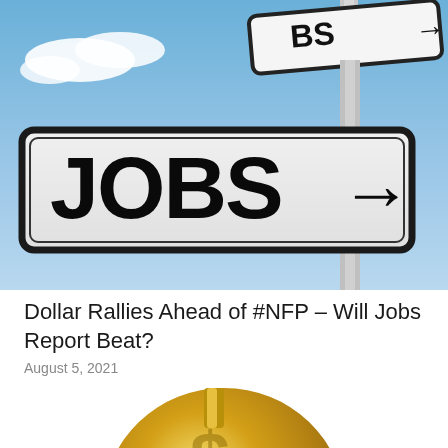[Figure (photo): Street sign reading JOBS with an arrow pointing right, against a blue sky with clouds. A second smaller JOBS sign is visible above.]
Dollar Rallies Ahead of #NFP – Will Jobs Report Beat?
August 5, 2021
[Figure (photo): Gold dollar sign coin or sculpture, partially visible at the bottom of the page.]